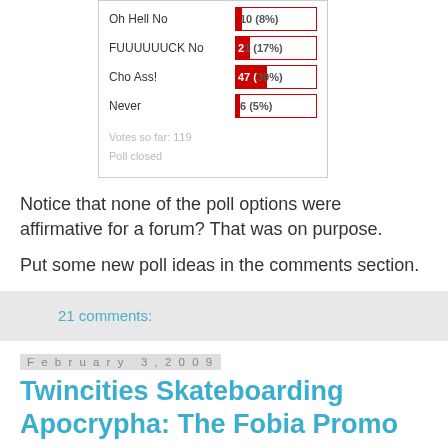[Figure (table-as-image): Poll results widget showing options Oh Hell No (10, 8%), FUUUUUUCK No (21, 17%), Cho Ass! (47, 39%), Never (6, 5%). Votes so far: 119. Poll closed.]
Notice that none of the poll options were affirmative for a forum? That was on purpose.
Put some new poll ideas in the comments section.
21 comments:
February 3, 2009
Twincities Skateboarding Apocrypha: The Fobia Promo